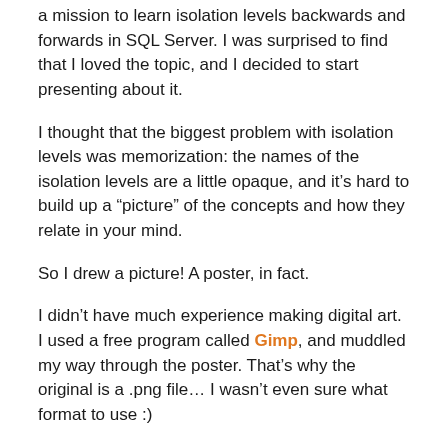a mission to learn isolation levels backwards and forwards in SQL Server. I was surprised to find that I loved the topic, and I decided to start presenting about it.
I thought that the biggest problem with isolation levels was memorization: the names of the isolation levels are a little opaque, and it's hard to build up a “picture” of the concepts and how they relate in your mind.
So I drew a picture! A poster, in fact.
I didn’t have much experience making digital art. I used a free program called Gimp, and muddled my way through the poster. That’s why the original is a .png file… I wasn’t even sure what format to use :)
Years later, the poster lives on